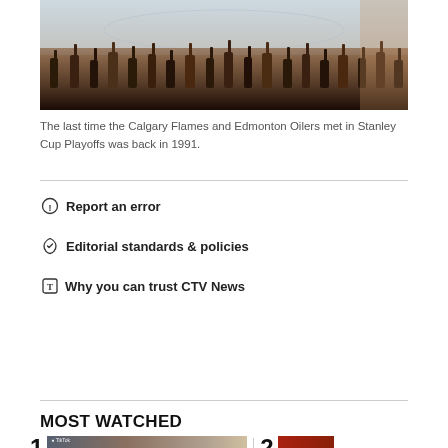[Figure (photo): Hockey arena photo showing crowd with raised hands during a game, ice rink visible in background]
The last time the Calgary Flames and Edmonton Oilers met in Stanley Cup Playoffs was back in 1991.
Report an error
Editorial standards & policies
Why you can trust CTV News
MOST WATCHED
[Figure (screenshot): Thumbnail image 1 in Most Watched section showing a TikTok video thumbnail]
[Figure (photo): Thumbnail image 2 in Most Watched section showing a red-toned scene]